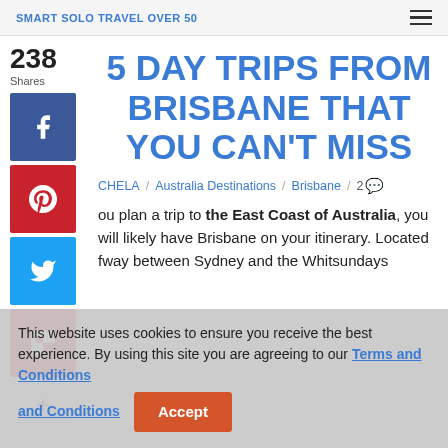SMART SOLO TRAVEL OVER 50
5 DAY TRIPS FROM BRISBANE THAT YOU CAN'T MISS
238 Shares
CHELA / Australia Destinations / Brisbane / 2
ou plan a trip to the East Coast of Australia, you will likely have Brisbane on your itinerary. Located fway between Sydney and the Whitsundays
This website uses cookies to ensure you receive the best experience. By using this site you are agreeing to our Terms and Conditions